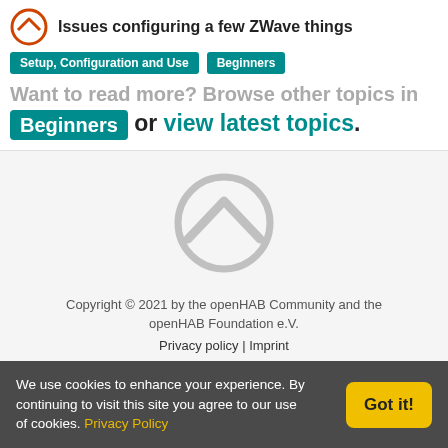Issues configuring a few ZWave things
Setup, Configuration and Use   Beginners
Want to read more? Browse other topics in Beginners or view latest topics.
[Figure (logo): openHAB logo in grey, large centered]
Copyright © 2021 by the openHAB Community and the openHAB Foundation e.V.
Privacy policy | Imprint
[Figure (illustration): Social media icons row: Twitter, email, YouTube]
We use cookies to enhance your experience. By continuing to visit this site you agree to our use of cookies. Privacy Policy   Got it!